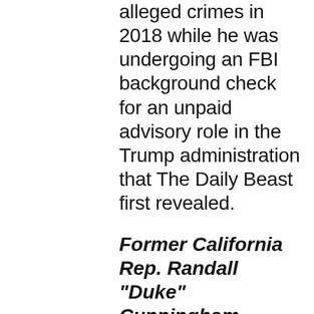alleged crimes in 2018 while he was undergoing an FBI background check for an unpaid advisory role in the Trump administration that The Daily Beast first revealed.
Former California Rep. Randall “Duke” Cunningham